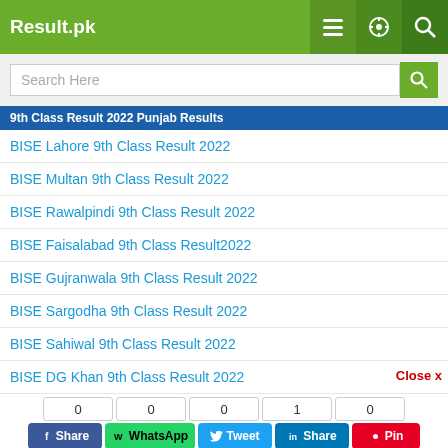Result.pk
Search Here
9th Class Result 2022 Punjab Results
BISE Lahore 9th Class Result 2022
BISE Multan 9th Class Result 2022
BISE Rawalpindi 9th Class Result 2022
BISE Faisalabad 9th Class Result2022
BISE Gujranwala 9th Class Result 2022
BISE Sargodha 9th Class Result 2022
BISE Sahiwal 9th Class Result 2022
BISE DG Khan 9th Class Result 2022
Close x
0 Share | 0 WhatsApp | 0 Tweet | 1 Share | 0 Pin
Subscribe YouTube
Admissions | News | Scholarships | Schools | Colleges | Merit Calculator | Ranking